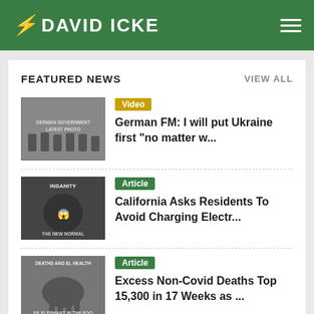DAVID ICKE
FEATURED NEWS
VIEW ALL
[Figure (photo): Black and white photo with text GERMAN GOVERNMENT LATEST PHOTO]
Video
German FM: I will put Ukraine first "no matter w...
[Figure (photo): Photo with text INSANITY and THE NEW NORMAL]
Article
California Asks Residents To Avoid Charging Electr...
[Figure (photo): Photo with text DEATHS AND EL HEALTH and EK ELEPHANT IN THE FOO]
Article
Excess Non-Covid Deaths Top 15,300 in 17 Weeks as ...
[Figure (photo): Blue toned photo]
Article